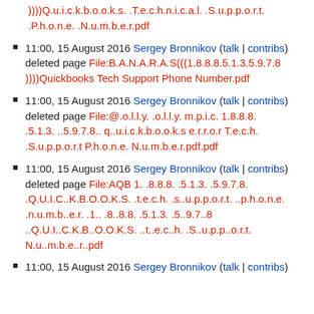))))Q.u.i.c.k.b.o.o.k.s. .T.e.c.h.n.i.c.a.l. .S.u.p.p.o.r.t. .P.h.o.n.e. .N.u.m.b.e.r.pdf (continuation from previous page)
11:00, 15 August 2016 Sergey Bronnikov (talk | contribs) deleted page File:B.A.N.A.R.A.S(((1.8.8.8.5.1.3.5.9.7.8))))Quickbooks Tech Support Phone Number.pdf
11:00, 15 August 2016 Sergey Bronnikov (talk | contribs) deleted page File:@.o.l.l.y. .o.l.l.y. m.p.i.c. 1.8.8.8. .5.1.3. ..5.9.7.8.. q..u.i.c.k.b.o.o.k.s e.r.r.o.r T.e.c.h. .S.u.p.p.o.r.t P.h.o.n.e. N.u.m.b.e.r.pdf.pdf
11:00, 15 August 2016 Sergey Bronnikov (talk | contribs) deleted page File:AQB 1. .8.8.8. .5.1.3. .5.9.7.8. .Q.U.I.C..K.B.O.O.K.S. .t.e.c.h. .s..u.p.p.o.r.t. ..p.h.o.n.e. .n.u.m.b..e.r. .1.. .8..8.8. .5.1.3. .5..9.7..8 ..Q.U.I..C.K.B..O.O.K.S. ..t..e.c..h. .S..u.p.p..o.r.t. N.u..m.b.e..r..pdf
11:00, 15 August 2016 Sergey Bronnikov (talk | contribs) (partial, cut off)